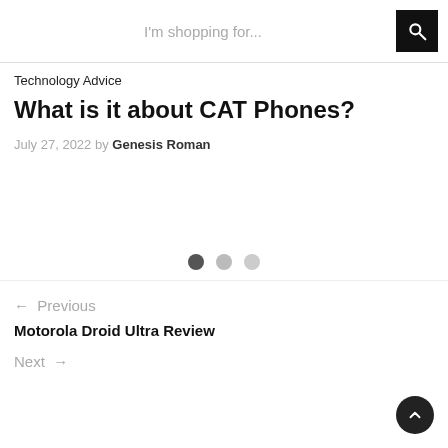I'm shopping for...
Technology Advice
What is it about CAT Phones?
July 27, 2022 by Genesis Roman
[Figure (other): Image carousel with three dot navigation indicators]
← Previous
Motorola Droid Ultra Review
Next →